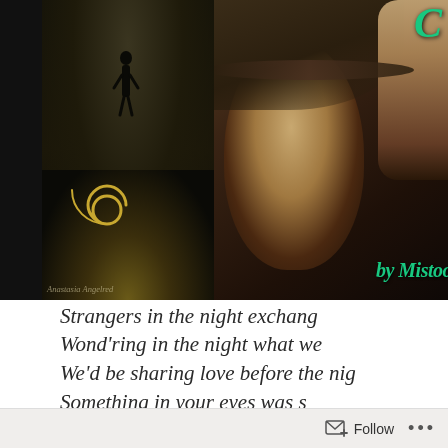[Figure (illustration): Two-panel book cover or fan art image. Left panel: dark alley scene at night with cobblestone street, a solitary figure walking away, golden spiral symbol on the ground, watermark text 'Anastasia Angelred'. Right panel: close-up of a person wearing a wide-brimmed hat with face partially shadowed, green cursive script partially visible at top right and 'by Mistoo...' in green cursive at bottom right, another man's blue eyes visible at far right edge.]
Strangers in the night exchang
Wond'ring in the night what we
We'd be sharing love before the nig
Something in your eyes was s
Something in you smile was s
Something in my heart told me I
Follow ...